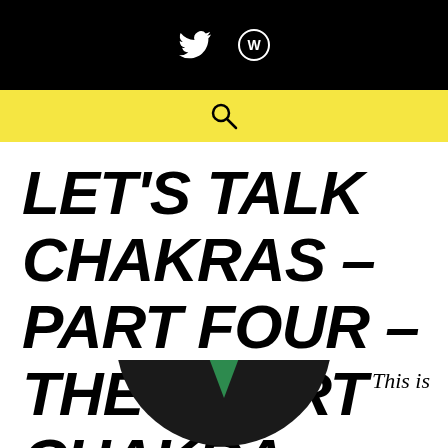Twitter and WordPress icons on black bar
[Figure (other): Yellow search bar with magnifying glass icon]
LET'S TALK CHAKRAS – PART FOUR – THE HEART CHAKRA
This is
[Figure (illustration): Partial circular image at bottom with green chakra symbol on dark background]